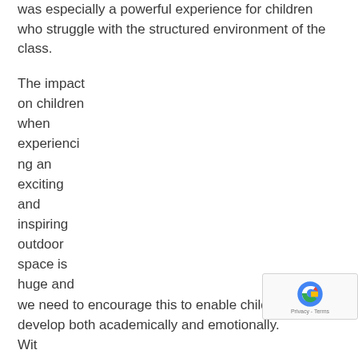was especially a powerful experience for children who struggle with the structured environment of the class.
The impact on children when experiencing an exciting and inspiring outdoor space is huge and we need to encourage this to enable children to develop both academically and emotionally. With pressure on them and advancement of technology...